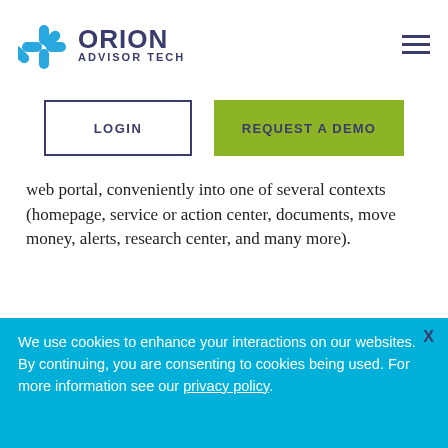[Figure (logo): Orion Advisor Tech logo with blue asterisk/star icon and dark blue text 'ORION ADVISOR TECH']
[Figure (other): Hamburger menu icon (three horizontal lines) in dark blue]
LOGIN
REQUEST A DEMO
web portal, conveniently into one of several contexts (homepage, service or action center, documents, move money, alerts, research center, and many more).
This is the first stage of many more planned
We use cookies to enhance your interactions on our websites. By continuing, you are consenting to cookies being used. For more information see our privacy policy.